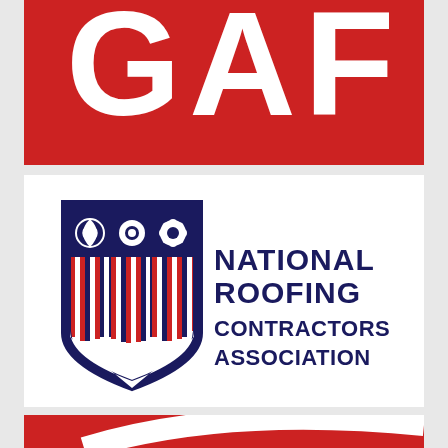[Figure (logo): GAF logo — white bold letters 'GAF' on red background, partially cropped at top]
[Figure (logo): National Roofing Contractors Association logo — shield with red and white stripes and three circular emblems on top, with dark navy text 'NATIONAL ROOFING CONTRACTORS ASSOCIATION' on white background]
[Figure (logo): Partial red logo at bottom, cropped, with white swoosh/arc element]